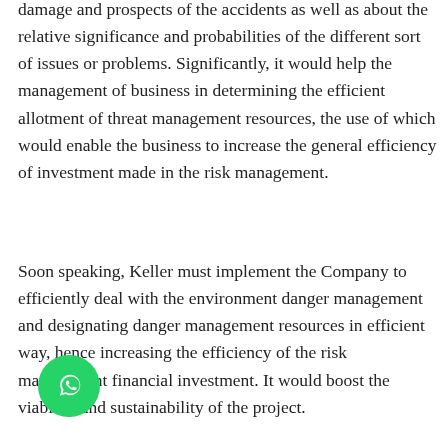damage and prospects of the accidents as well as about the relative significance and probabilities of the different sort of issues or problems. Significantly, it would help the management of business in determining the efficient allotment of threat management resources, the use of which would enable the business to increase the general efficiency of investment made in the risk management.
Soon speaking, Keller must implement the Company to efficiently deal with the environment danger management and designating danger management resources in efficient way, hence increasing the efficiency of the risk management financial investment. It would boost the viability and sustainability of the project.